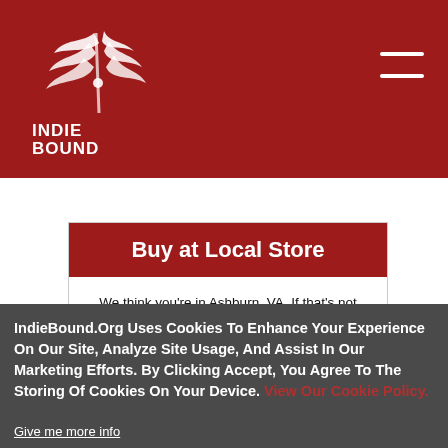[Figure (logo): IndieBound logo — white bird/book graphic on dark red background with text INDIE BOUND]
Buy at Local Store
We think you're in Ashburn, VA. If that's not right, click the "Reset" button below to search by ZIP.
Bespoke Books and Archives
7 E. Market Street, #101
IndieBound.Org Uses Cookies To Enhance Your Experience On Our Site, Analyze Site Usage, And Assist In Our Marketing Efforts. By Clicking Accept, You Agree To The Storing Of Cookies On Your Device. View Our Cookie Policy.
Give me more info